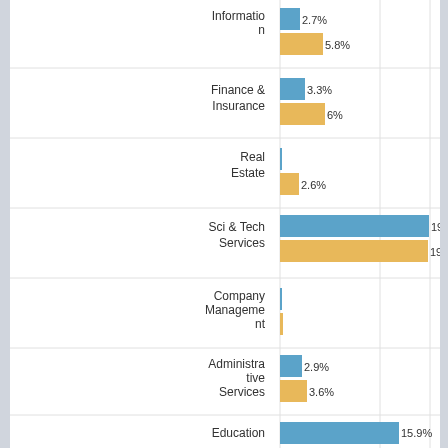[Figure (grouped-bar-chart): Industry Employment Share]